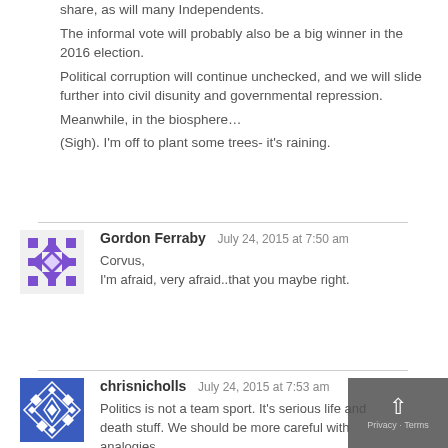share, as will many Independents.
The informal vote will probably also be a big winner in the 2016 election.
Political corruption will continue unchecked, and we will slide further into civil disunity and governmental repression.
Meanwhile, in the biosphere…

(Sigh). I'm off to plant some trees- it's raining.
Gordon Ferraby   July 24, 2015 at 7:50 am
Corvus,
I'm afraid, very afraid..that you maybe right.
chrisnicholls   July 24, 2015 at 7:53 am
Politics is not a team sport. It's serious life and death stuff. We should be more careful with analogies.